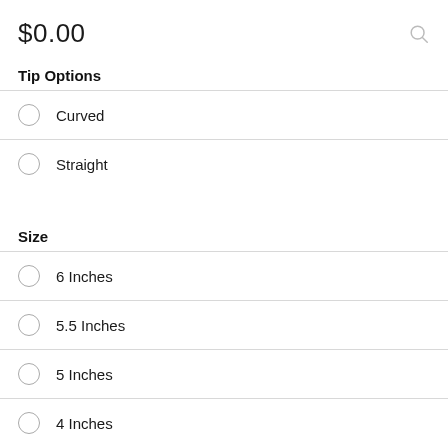$0.00
Tip Options
Curved
Straight
Size
6 Inches
5.5 Inches
5 Inches
4 Inches